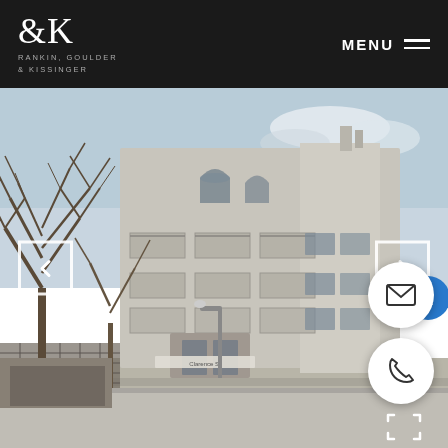[Figure (logo): Rankin, Goulder & Kissinger law firm logo with &K monogram in white on dark background]
MENU
[Figure (photo): Exterior photograph of a multi-story residential condominium building with balconies, in winter with bare trees in foreground]